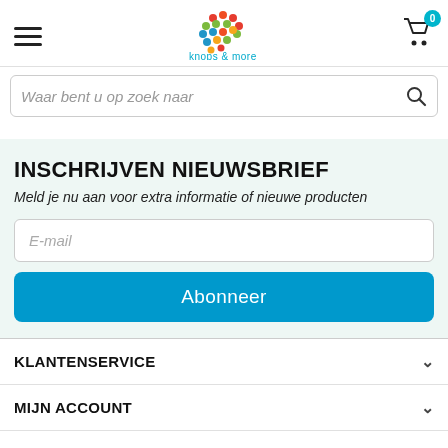[Figure (logo): Knops & more logo with colorful dots brain shape and teal brand name text]
Waar bent u op zoek naar
INSCHRIJVEN NIEUWSBRIEF
Meld je nu aan voor extra informatie of nieuwe producten
E-mail
Abonneer
KLANTENSERVICE
MIJN ACCOUNT
BETAALMETHODEN